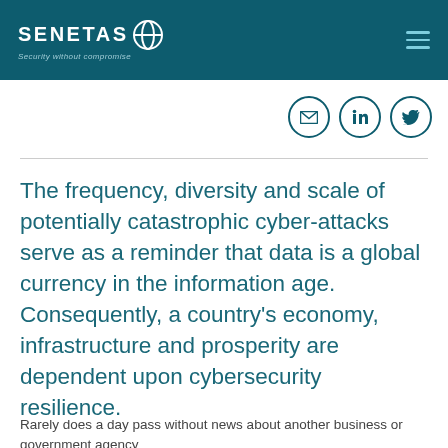SENETAS Security without compromise
[Figure (logo): Senetas logo with circular icon and tagline 'Security without compromise' on dark teal background, with hamburger menu icon on right]
[Figure (other): Three social media icons in circles: email, LinkedIn, Twitter]
The frequency, diversity and scale of potentially catastrophic cyber-attacks serve as a reminder that data is a global currency in the information age. Consequently, a country's economy, infrastructure and prosperity are dependent upon cybersecurity resilience.
Rarely does a day pass without news about another business or government agency